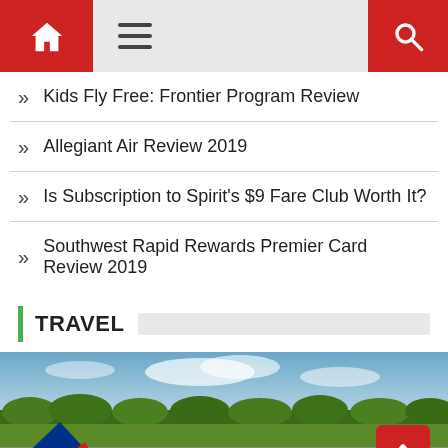Navigation header with home, menu, and search icons
Kids Fly Free: Frontier Program Review
Allegiant Air Review 2019
Is Subscription to Spirit's $9 Fare Club Worth It?
Southwest Rapid Rewards Premier Card Review 2019
TRAVEL
[Figure (photo): A Delta Airlines plane on a runway with green fields and trees in the background under a partly cloudy sky]